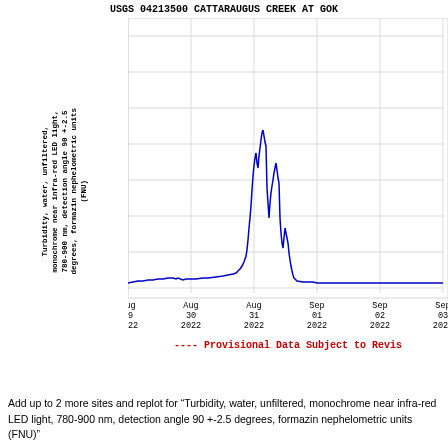USGS 04213500 CATTARAUGUS CREEK AT GOK
[Figure (continuous-plot): Time series line chart of turbidity (FNU) at Cattaraugus Creek, Aug 29 to Sep 03 2022, showing a sharp peak around Aug 31 reaching ~540 FNU, with baseline near 0-50 FNU.]
---- Provisional Data Subject to Revis
Add up to 2 more sites and replot for "Turbidity, water, unfiltered, monochrome near infra-red LED light, 780-900 nm, detection angle 90 +-2.5 degrees, formazin nephelometric units (FNU)"